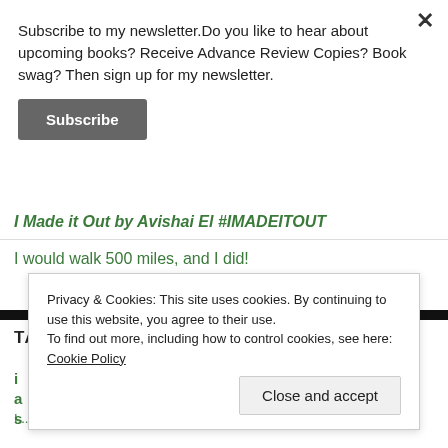Subscribe to my newsletter.Do you like to hear about upcoming books? Receive Advance Review Copies? Book swag? Then sign up for my newsletter.
Subscribe
I Made it Out by Avishai El #IMADEITOUT
I would walk 500 miles, and I did!
TAGS
Privacy & Cookies: This site uses cookies. By continuing to use this website, you agree to their use. To find out more, including how to control cookies, see here: Cookie Policy
Close and accept